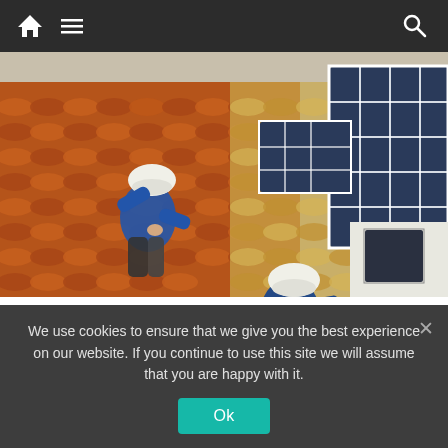Navigation bar with home icon, menu icon, and search icon
[Figure (photo): Two workers in blue shirts and white hard hats installing solar panels on a terracotta tile roof. Solar panels visible on the right side of the image.]
Forget Expensive Roofing: Prices in 2022 Might Surprise You
Roofing Services | Search Ads | Sponsored
We use cookies to ensure that we give you the best experience on our website. If you continue to use this site we will assume that you are happy with it.